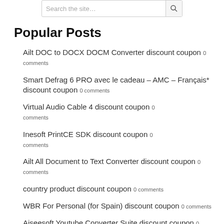Popular Posts
Ailt DOC to DOCX DOCM Converter discount coupon 0 comments
Smart Defrag 6 PRO avec le cadeau – AMC – Français* discount coupon 0 comments
Virtual Audio Cable 4 discount coupon 0 comments
Inesoft PrintCE SDK discount coupon 0 comments
Ailt All Document to Text Converter discount coupon 0 comments
country product discount coupon 0 comments
WBR For Personal (for Spain) discount coupon 0 comments
Aiseesoft Youtube Converter Suite discount coupon 0 comments